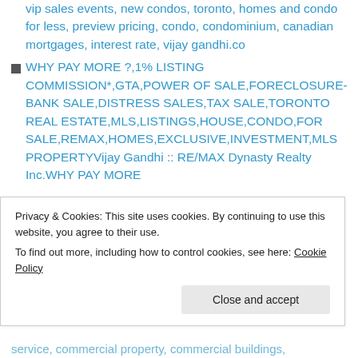vip sales events, new condos, toronto, homes and condo for less, preview pricing, condo, condominium, canadian mortgages, interest rate, vijay gandhi.co
WHY PAY MORE ?,1% LISTING COMMISSION*,GTA,POWER OF SALE,FORECLOSURE-BANK SALE,DISTRESS SALES,TAX SALE,TORONTO REAL ESTATE,MLS,LISTINGS,HOUSE,CONDO,FOR SALE,REMAX,HOMES,EXCLUSIVE,INVESTMENT,MLS PROPERTYVijay Gandhi :: RE/MAX Dynasty Realty Inc.WHY PAY MORE
Privacy & Cookies: This site uses cookies. By continuing to use this website, you agree to their use.
To find out more, including how to control cookies, see here: Cookie Policy
Close and accept
service, commercial property, commercial buildings,